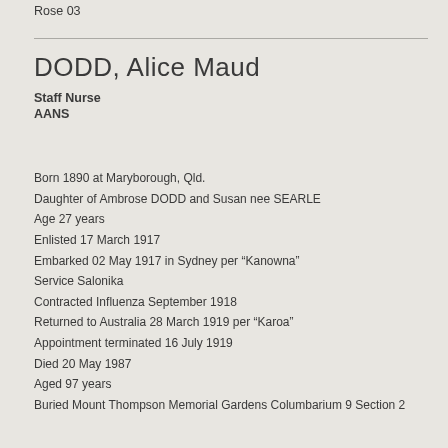Rose 03
DODD, Alice Maud
Staff Nurse
AANS
Born 1890 at Maryborough, Qld.
Daughter of Ambrose DODD and Susan nee SEARLE
Age 27 years
Enlisted 17 March 1917
Embarked 02 May 1917 in Sydney per “Kanowna”
Service Salonika
Contracted Influenza September 1918
Returned to Australia 28 March 1919 per “Karoa”
Appointment terminated 16 July 1919
Died 20 May 1987
Aged 97 years
Buried Mount Thompson Memorial Gardens Columbarium 9 Section 2